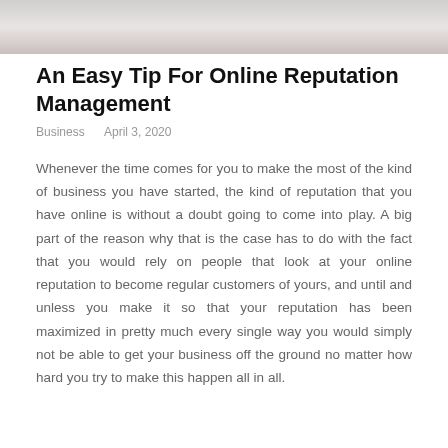[Figure (photo): Blurred photo strip at top of page showing a person in background]
An Easy Tip For Online Reputation Management
Business    April 3, 2020
Whenever the time comes for you to make the most of the kind of business you have started, the kind of reputation that you have online is without a doubt going to come into play. A big part of the reason why that is the case has to do with the fact that you would rely on people that look at your online reputation to become regular customers of yours, and until and unless you make it so that your reputation has been maximized in pretty much every single way you would simply not be able to get your business off the ground no matter how hard you try to make this happen all in all.